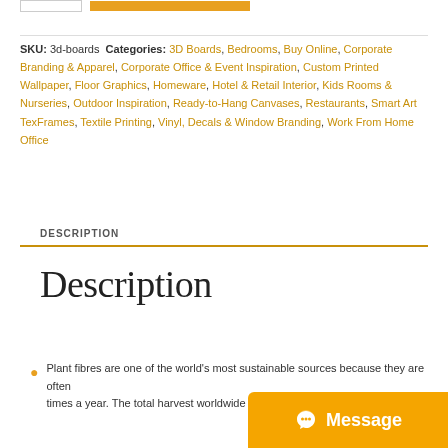SKU: 3d-boards Categories: 3D Boards, Bedrooms, Buy Online, Corporate Branding & Apparel, Corporate Office & Event Inspiration, Custom Printed Wallpaper, Floor Graphics, Homeware, Hotel & Retail Interior, Kids Rooms & Nurseries, Outdoor Inspiration, Ready-to-Hang Canvases, Restaurants, Smart Art TexFrames, Textile Printing, Vinyl, Decals & Window Branding, Work From Home Office
DESCRIPTION
Description
Plant fibres are one of the world's most sustainable sources because they are often times a year. The total harvest worldwide runs into